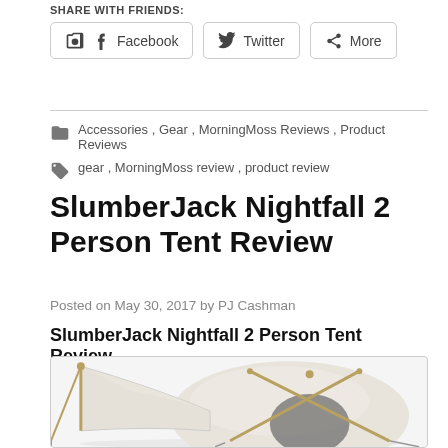Share with friends:
Facebook   Twitter   More
Accessories , Gear , MorningMoss Reviews , Product Reviews
gear , MorningMoss review , product review
SlumberJack Nightfall 2 Person Tent Review
Posted on May 30, 2017 by PJ Cashman
SlumberJack Nightfall 2 Person Tent Review
[Figure (photo): Photo of a light grey/beige dome tent with a vestibule/awning extended to the left, supported by poles, on a white background]